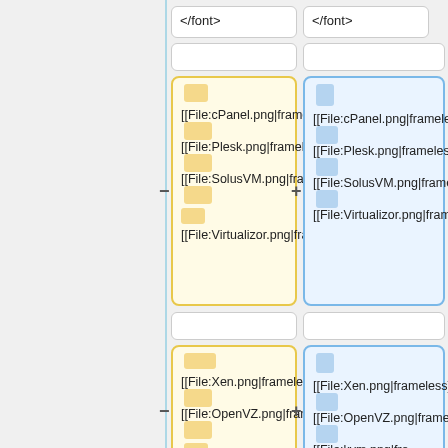</font>
</font>
[[File:cPanel.png|frameless]] [[File:Plesk.png|frameless]] [[File:SolusVM.png|frameless]] [[File:Virtualizor.png|frameless]]
[[File:cPanel.png|frameless]] [[File:Plesk.png|frameless]] [[File:SolusVM.png|frameless]] [[File:Virtualizor.png|frameless]]
[[File:Xen.png|frameless]] [[File:OpenVZ.png|frameless]]
[[File:Xen.png|frameless]] [[File:OpenVZ.png|frameless]] [[File:kvm.png|fra